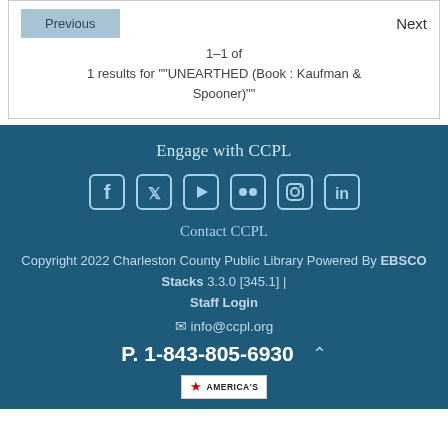Previous
Next
1–1 of
1 results for ""UNEARTHED (Book : Kaufman & Spooner)""
Engage with CCPL
[Figure (infographic): Row of 6 social media icons: Facebook, Twitter, YouTube, Flickr, Instagram, LinkedIn — white outlined rounded-square icons on dark teal background]
Contact CCPL
Copyright 2022 Charleston County Public Library Powered By EBSCO Stacks 3.3.0 [345.1] | Staff Login
✉ info@ccpl.org
P. 1-843-805-6930
[Figure (logo): America's badge logo — small red star with 'AMERICA'S' text in white box]